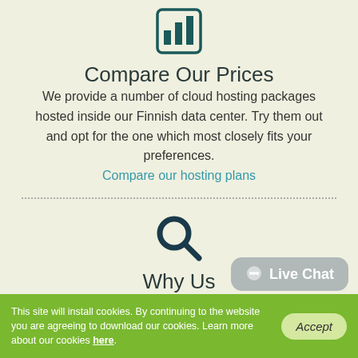[Figure (illustration): Bar chart icon inside a rounded square border, dark teal color]
Compare Our Prices
We provide a number of cloud hosting packages hosted inside our Finnish data center. Try them out and opt for the one which most closely fits your preferences. Compare our hosting plans
[Figure (illustration): Search/magnifying glass icon, dark teal color]
Why Us
Live Chat
This site will install cookies. By continuing to the website you are agreeing to download our cookies. Learn more about our cookies here.